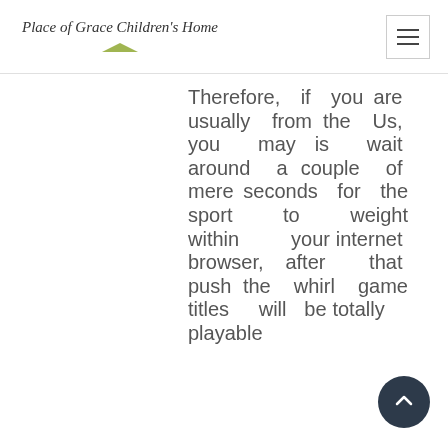Place of Grace Children's Home
Therefore, if you are usually from the Us, you may is wait around a couple of mere seconds for the sport to weight within your internet browser, after that push the whirl game titles will be totally playable